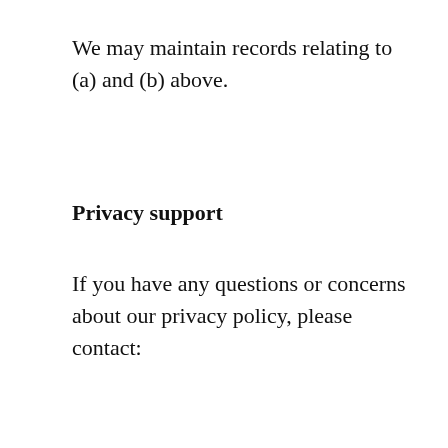We may maintain records relating to (a) and (b) above.
Privacy support
If you have any questions or concerns about our privacy policy, please contact: